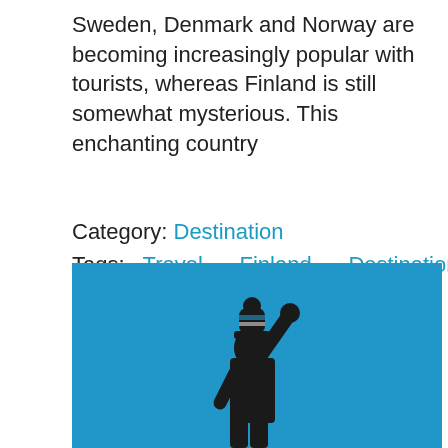Sweden, Denmark and Norway are becoming increasingly popular with tourists, whereas Finland is still somewhat mysterious. This enchanting country
Category: Destination
Tags: Travel Finland Destinations Winter Holidays Sweden Denmark Norway Scandinavia
[Figure (photo): Person in a dark jacket and striped winter hat raising one arm up against a bright blue sky background]